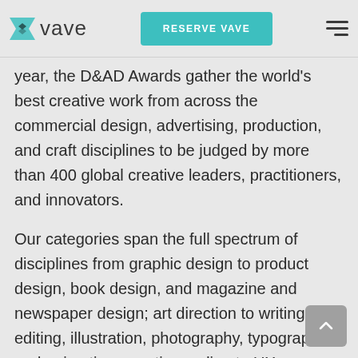[Figure (logo): Vave logo with teal diamond/arrow icon and 'vave' wordmark in light grey]
[Figure (other): Teal 'RESERVE VAVE' button in navigation header]
[Figure (other): Hamburger menu icon (three horizontal lines) in top right]
year, the D&AD Awards gather the world's best creative work from across the commercial design, advertising, production, and craft disciplines to be judged by more than 400 global creative leaders, practitioners, and innovators.
Our categories span the full spectrum of disciplines from graphic design to product design, book design, and magazine and newspaper design; art direction to writing, editing, illustration, photography, typography, and animation; creative coding to UX, e-commerce, and gaming; PR, and...